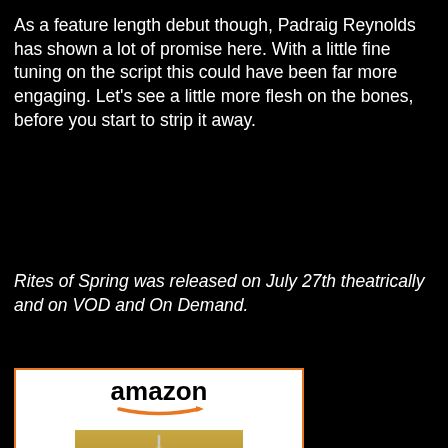As a feature length debut though, Padraig Reynolds has shown a lot of promise here. With a little fine tuning on the script this could have been far more engaging. Let's see a little more flesh on the bones, before you start to strip it away.
Rites of Spring was released on July 27th theatrically and on VOD and On Demand.
[Figure (other): Amazon product widget showing Rites of Spring DVD/VOD listing for $2.99 with Shop now button]